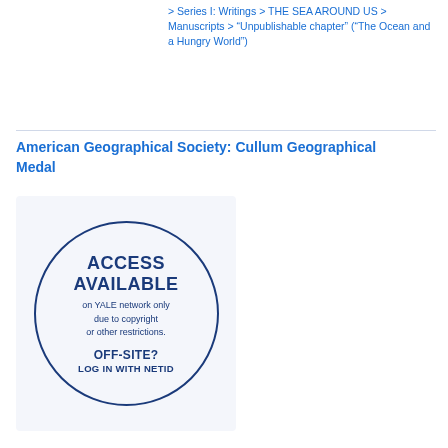> Series I: Writings > THE SEA AROUND US > Manuscripts > “Unpublishable chapter” (“The Ocean and a Hungry World”)
American Geographical Society: Cullum Geographical Medal
[Figure (infographic): Circle badge with dark blue border on light blue background. Text reads: ACCESS AVAILABLE on YALE network only due to copyright or other restrictions. OFF-SITE? LOG IN WITH NETID]